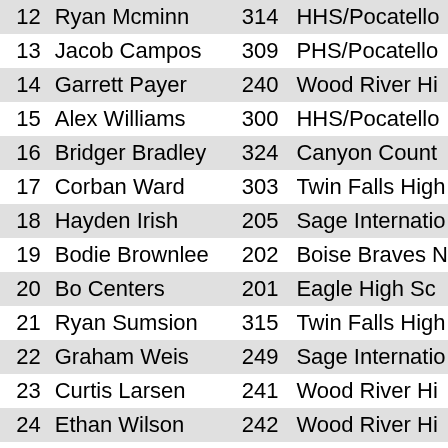| # | Name | Bib | School |
| --- | --- | --- | --- |
| 12 | Ryan Mcminn | 314 | HHS/Pocatello |
| 13 | Jacob Campos | 309 | PHS/Pocatello |
| 14 | Garrett Payer | 240 | Wood River Hi |
| 15 | Alex Williams | 300 | HHS/Pocatello |
| 16 | Bridger Bradley | 324 | Canyon Count |
| 17 | Corban Ward | 303 | Twin Falls High |
| 18 | Hayden Irish | 205 | Sage Internatio |
| 19 | Bodie Brownlee | 202 | Boise Braves N |
| 20 | Bo Centers | 201 | Eagle High Sc |
| 21 | Ryan Sumsion | 315 | Twin Falls High |
| 22 | Graham Weis | 249 | Sage Internatio |
| 23 | Curtis Larsen | 241 | Wood River Hi |
| 24 | Ethan Wilson | 242 | Wood River Hi |
| 25 | Taylor Shanor | 348 | Jackson Hole |
| 26 | Stephen Crawford | 212 | Madison/Uppe |
| 27 | Antonio Oros | 244 | Sage Internatio |
| 28 | Nathan Demarse | 232 | Middleton Vikin |